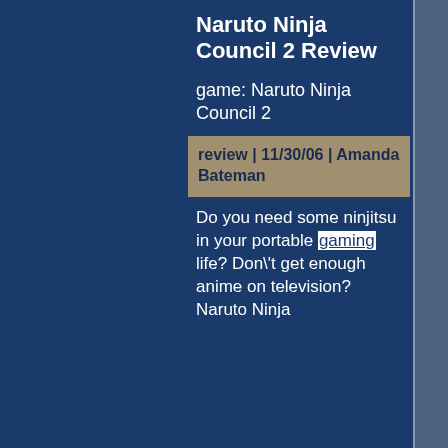Naruto Ninja Council 2 Review
game: Naruto Ninja Council 2
review | 11/30/06 | Amanda Bateman
Do you need some ninjitsu in your portable gaming life? Don\'t get enough anime on television? Naruto Ninja